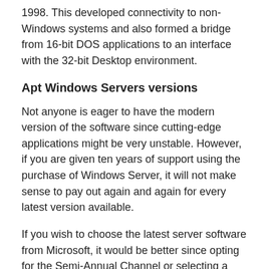1998. This developed connectivity to non-Windows systems and also formed a bridge from 16-bit DOS applications to an interface with the 32-bit Desktop environment.
Apt Windows Servers versions
Not anyone is eager to have the modern version of the software since cutting-edge applications might be very unstable. However, if you are given ten years of support using the purchase of Windows Server, it will not make sense to pay out again and again for every latest version available.
If you wish to choose the latest server software from Microsoft, it would be better since opting for the Semi-Annual Channel or selecting a whole Cloud-based solution